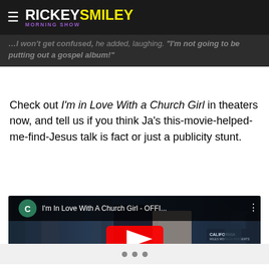RICKEY SMILEY MORNING SHOW
I won't get confused, he added, laughing. I'm not going to be putting out a gospel album!
Check out I'm in Love With a Church Girl in theaters now, and tell us if you think Ja's this-movie-helped-me-find-Jesus talk is fact or just a publicity stunt.
[Figure (screenshot): YouTube video embed showing movie poster for I'm In Love With A Church Girl - OFFI... with play button overlay. Shows two main actors (man in dark jacket, woman in light top) with city background and CALIFORNIA sign.]
Navigation dots (3 dots)